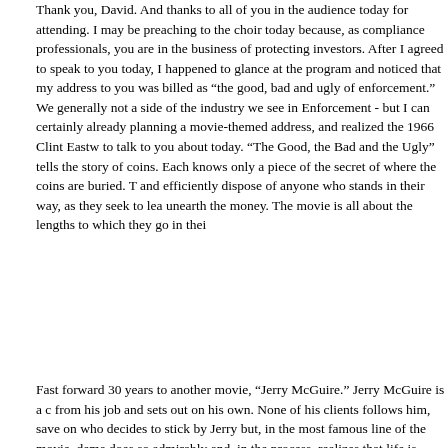Thank you, David. And thanks to all of you in the audience today for attending. I may be preaching to the choir today because, as compliance professionals, you are in the business of protecting investors. After I agreed to speak to you today, I happened to glance at the program and noticed that my address to you was billed as "the good, bad and ugly of enforcement." Well, that's generally not a side of the industry we see in Enforcement - but I can certainly work with it. I was already planning a movie-themed address, and realized the 1966 Clint Eastwood classic is what I want to talk to you about today. "The Good, the Bad and the Ugly" tells the story of three men after gold coins. Each knows only a piece of the secret of where the coins are buried. They ruthlessly and efficiently dispose of anyone who stands in their way, as they seek to learn the full secret and unearth the money. The movie is all about the lengths to which they go in their pursuit of money.
Fast forward 30 years to another movie, "Jerry McGuire." Jerry McGuire is a character who is fired from his job and sets out on his own. None of his clients follows him, save one - a football player who decides to stick by Jerry but, in the most famous line of the movie, demands "Show me the money!" Jerry does so admirably and, in the process, realizes that life is about a lot more than money.
What do these two movies have in common? One could view them both as being about a single-minded pursuit of money. More broadly, they can both be viewed as examples of incentives that cause people to act in certain ways we perhaps wouldn't want to encourage. And what does this have to do with Enforcement? Well, that's where the bad and the ugly come in. In Enforcement, we sometimes need to follow the money in order to identify securities law violations before they harm investors and the industry. Following the money has become an essential component of our enforcement toolkit. There is nothing new about this idea. In fact, I believe that when it comes to money and conflicts in the financial services industry, there is really nothing new under the sun (or in the shadows). The bad and the ugly conflicts that may be uncovered by following the money usually are variations on old themes. But your, challenge is to identify those new variations promptly, and take appropriate action to protect your clients.
Before I go further, I need to mention that my views on movies, enforcement,